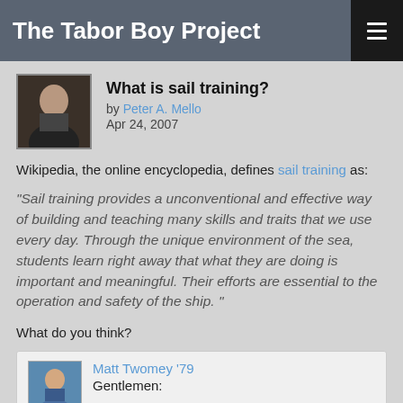The Tabor Boy Project
What is sail training?
by Peter A. Mello
Apr 24, 2007
Wikipedia, the online encyclopedia, defines sail training as:
"Sail training provides a unconventional and effective way of building and teaching many skills and traits that we use every day. Through the unique environment of the sea, students learn right away that what they are doing is important and meaningful. Their efforts are essential to the operation and safety of the ship. "
What do you think?
Matt Twomey '79
Gentlemen: